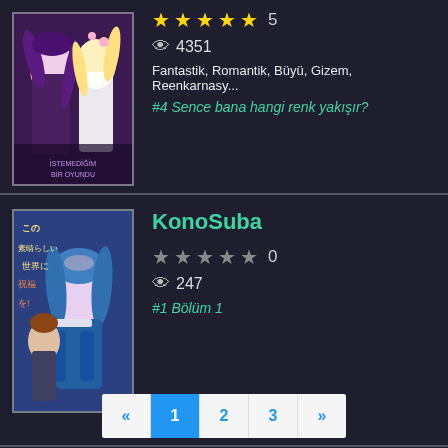[Figure (screenshot): Manga/light novel listing card 1 with cover image showing two anime girls (purple and blonde hair)]
★★★★★ 5
👁 4351
Fantastik, Romantik, Büyü, Gizem, Reenkarnasy...
#4 Sence bana hangi renk yakışır?
[Figure (screenshot): KonoSuba light novel cover with blue-haired anime girl]
KonoSuba
★★★★★ 0
👁 247
#1 Bölüm 1
« 1 2 3 »